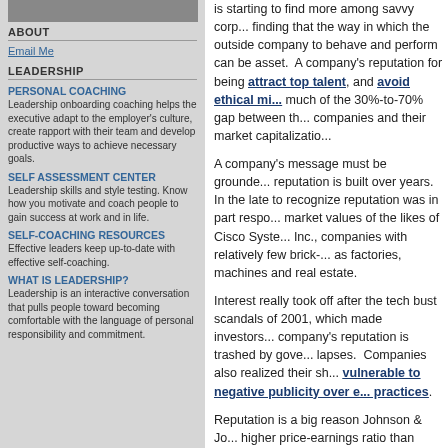[Figure (photo): Cropped photo strip of a person]
ABOUT
Email Me
LEADERSHIP
PERSONAL COACHING
Leadership onboarding coaching helps the executive adapt to the employer's culture, create rapport with their team and develop productive ways to achieve necessary goals.
SELF ASSESSMENT CENTER
Leadership skills and style testing. Know how you motivate and coach people to gain success at work and in life.
SELF-COACHING RESOURCES
Effective leaders keep up-to-date with effective self-coaching.
WHAT IS LEADERSHIP?
Leadership is an interactive conversation that pulls people toward becoming comfortable with the language of personal responsibility and commitment.
is starting to find more among savvy corporate finding that the way in which the outside company to behave and perform can be asset. A company's reputation for being attract top talent, and avoid ethical mi... much of the 30%-to-70% gap between th... companies and their market capitalizatio...
A company's message must be grounde... reputation is built over years. In the late to recognize reputation was in part respo... market values of the likes of Cisco Syste... Inc., companies with relatively few brick-... as factories, machines and real estate.
Interest really took off after the tech bust scandals of 2001, which made investors... company's reputation is trashed by gove... lapses. Companies also realized their sh... vulnerable to negative publicity over e... practices.
Reputation is a big reason Johnson & Jo... higher price-earnings ratio than Pfizer, P... Unilever and Exxon Mobil than Royal Du...